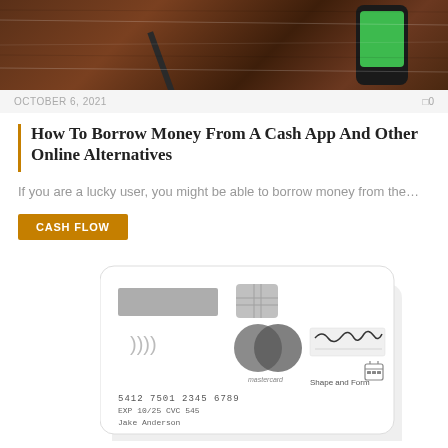[Figure (photo): Top photo showing a smartphone with green screen on a wooden surface with a pencil]
OCTOBER 6, 2021
0
How To Borrow Money From A Cash App And Other Online Alternatives
If you are a lucky user, you might be able to borrow money from the...
CASH FLOW
[Figure (photo): White Mastercard credit card with number 5412 7501 2345 6789, EXP 10/25, CVC 545, cardholder Jake Anderson, with a signature reading Shape and Form]